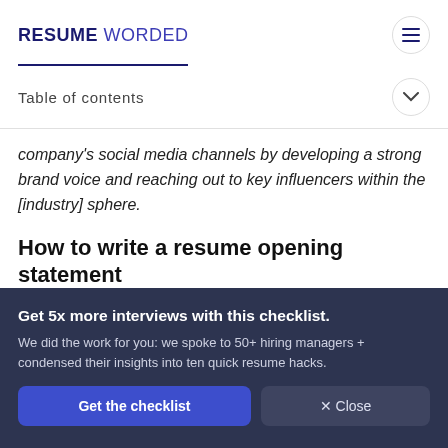RESUME WORDED
company's social media channels by developing a strong brand voice and reaching out to key influencers within the [industry] sphere.
How to write a resume opening statement
1. Title your opening statement (optional):
Get 5x more interviews with this checklist. We did the work for you: we spoke to 50+ hiring managers + condensed their insights into ten quick resume hacks.
Get the checklist   × Close